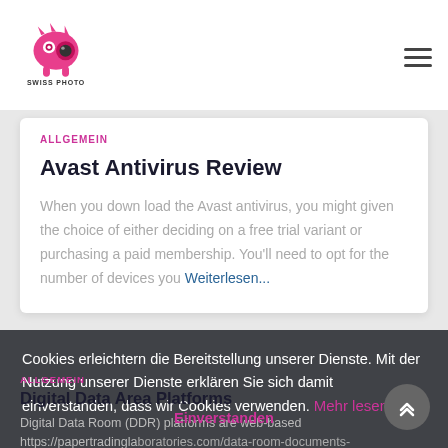[Figure (logo): Swiss Photo Artists logo - pink monster character with camera, text SWISS PHOTO ARTISTS below]
ALLGEMEIN
Avast Antivirus Review
When you down load the Avast antivirus, you might given the choice of either deciding on a free trial variant or purchasing a paid membership. You'll need to opt for the number of devices you Weiterlesen...
Cookies erleichtern die Bereitstellung unserer Dienste. Mit der Nutzung unserer Dienste erklären Sie sich damit einverstanden, dass wir Cookies verwenden. Mehr lesen
ALLGEMEIN
Digital Data Area Platforms
Digital Data Room (DDR) platforms are web-based https://papertradinglaboratories.com/data-room-documents-keep-shareholders-updated solutions with a host of...
Einverstanden